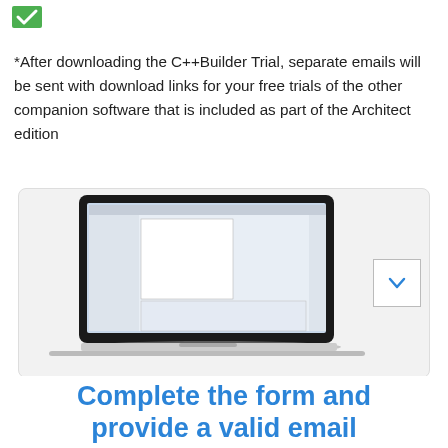[Figure (logo): Green checkmark / Embarcadero logo top left]
*After downloading the C++Builder Trial, separate emails will be sent with download links for your free trials of the other companion software that is included as part of the Architect edition
[Figure (screenshot): Laptop showing C++Builder IDE with code editor, component tree, and database diagram on screen]
Complete the form and provide a valid email